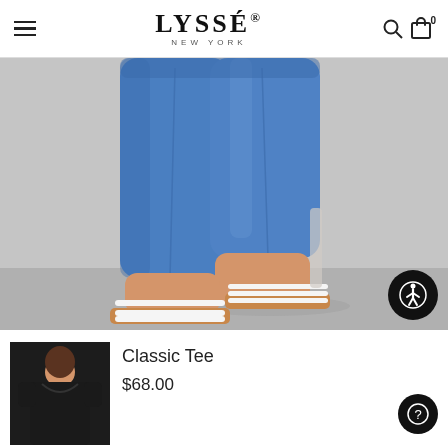LYSSÉ® NEW YORK
[Figure (photo): Close-up photo of a woman's lower body wearing blue denim cropped skinny jeans and white strappy flat sandals with brown leather soles, standing on a light grey floor against a grey background.]
[Figure (photo): Thumbnail photo of a woman wearing a classic black scoop-neck tee shirt.]
Classic Tee
$68.00